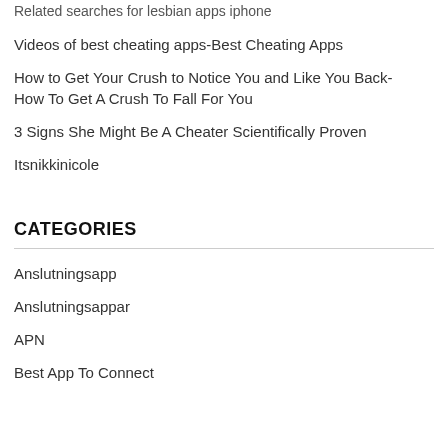Related searches for lesbian apps iphone
Videos of best cheating apps-Best Cheating Apps
How to Get Your Crush to Notice You and Like You Back- How To Get A Crush To Fall For You
3 Signs She Might Be A Cheater Scientifically Proven
Itsnikkinicole
CATEGORIES
Anslutningsapp
Anslutningsappar
APN
Best App To Connect